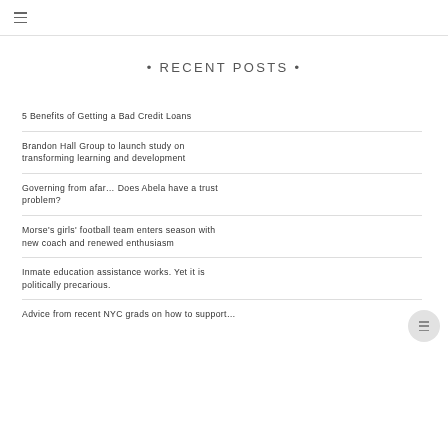☰
• RECENT POSTS •
5 Benefits of Getting a Bad Credit Loans
Brandon Hall Group to launch study on transforming learning and development
Governing from afar… Does Abela have a trust problem?
Morse's girls' football team enters season with new coach and renewed enthusiasm
Inmate education assistance works. Yet it is politically precarious.
Advice from recent NYC grads on how to support…